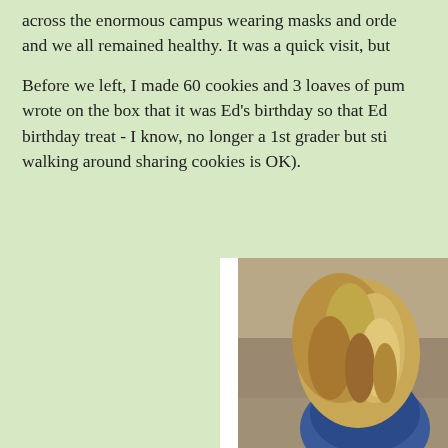across the enormous campus wearing masks and orde and we all remained healthy. It was a quick visit, but
Before we left, I made 60 cookies and 3 loaves of pump wrote on the box that it was Ed's birthday so that Ed birthday treat - I know, no longer a 1st grader but stil walking around sharing cookies is OK).
[Figure (photo): A person with wavy blonde/brown hair viewed from behind, wearing a blue top, crouching or sitting on a floor. Appears to be indoors.]